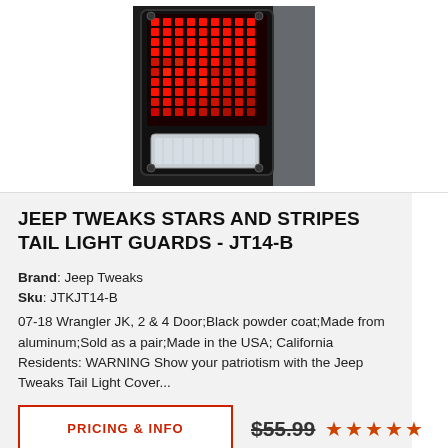[Figure (photo): Photo of a Jeep tail light with red LED stars and stripes pattern illuminated, black housing, small clear reverse light at bottom]
JEEP TWEAKS STARS AND STRIPES TAIL LIGHT GUARDS - JT14-B
Brand: Jeep Tweaks
Sku: JTKJT14-B
07-18 Wrangler JK, 2 & 4 Door;Black powder coat;Made from aluminum;Sold as a pair;Made in the USA; California Residents: WARNING Show your patriotism with the Jeep Tweaks Tail Light Cover...
PRICING & INFO
$55.99 ★★★★★